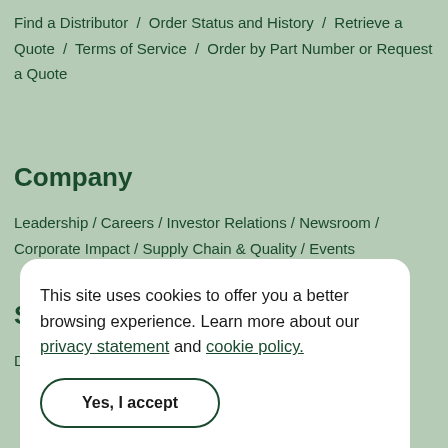Find a Distributor / Order Status and History / Retrieve a Quote / Terms of Service / Order by Part Number or Request a Quote
Company
Leadership / Careers / Investor Relations / Newsroom / Corporate Impact / Supply Chain & Quality / Events
Support
Downloads / Product Documentation / Discussion Forums
This site uses cookies to offer you a better browsing experience. Learn more about our privacy statement and cookie policy.
Yes, I accept